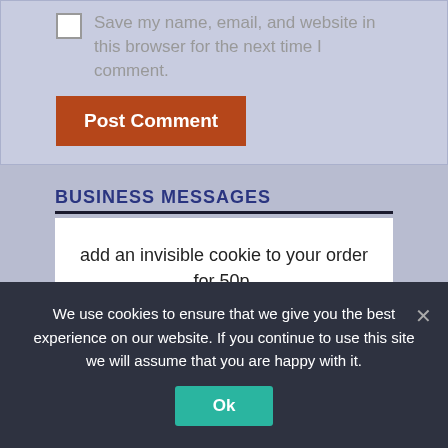Save my name, email, and website in this browser for the next time I comment.
Post Comment
BUSINESS MESSAGES
add an invisible cookie to your order for 50p. 100% of the proceed will be donated.
[Figure (illustration): Partial view of a golden cookie at the bottom of white card]
We use cookies to ensure that we give you the best experience on our website. If you continue to use this site we will assume that you are happy with it.
Ok